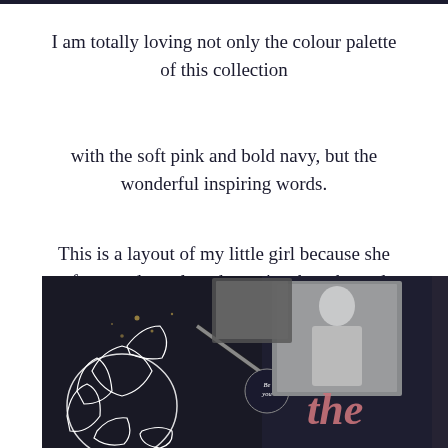I am totally loving not only the colour palette of this collection
with the soft pink and bold navy, but the wonderful inspiring words.
This is a layout of my little girl because she often needs to slow down, just breathe and chill...lol!
[Figure (photo): Close-up photo of a scrapbook layout on a dark navy background, featuring a photo of a girl, floral die-cut elements, a round badge reading 'Be you', and pink cursive lettering.]